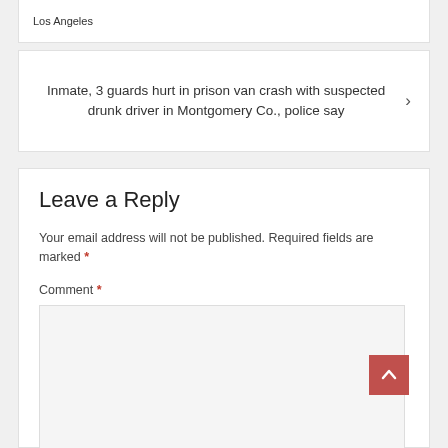Los Angeles
Inmate, 3 guards hurt in prison van crash with suspected drunk driver in Montgomery Co., police say
Leave a Reply
Your email address will not be published. Required fields are marked *
Comment *